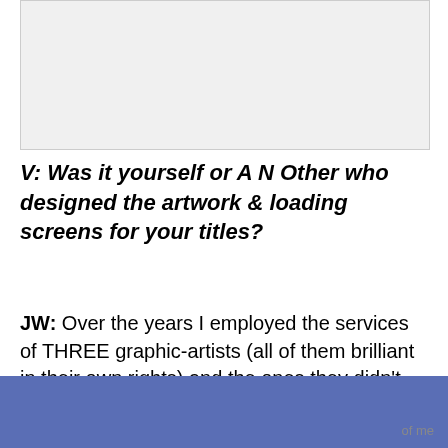[Figure (other): Gray placeholder image area at top of page]
V: Was it yourself or A N Other who designed the artwork & loading screens for your titles?
JW: Over the years I employed the services of THREE graphic-artists (all of them brilliant in their own rights) and the ones they didn't do I did myself. Sean Doran did the first couple and then Shaun McClure helped out before Kez G... [continues, partially obscured] of me
[Figure (other): Blue banner/advertisement overlay at the bottom of the page]